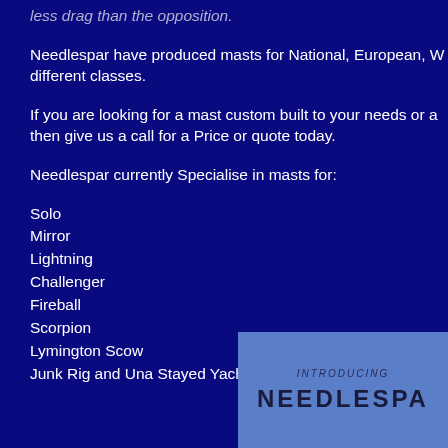less drag than the opposition.
Needlespar have produced masts for National, European, W different classes.
If you are looking for a mast custom built to your needs or a then give us a call for a Price or quote today.
Needlespar currently Specialise in masts for:
Solo
Mirror
Lightning
Challenger
Fireball
Scorpion
Lymington Scow
Junk Rig and Una Stayed Yachts
[Figure (illustration): Needlespar brochure cover with 'INTRODUCING NEEDLESPAR' text on a light blue background]